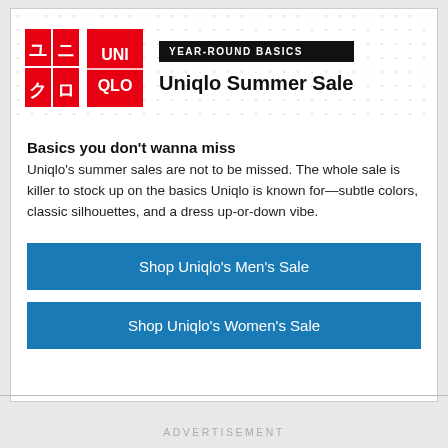[Figure (logo): Uniqlo logo — red square with Japanese katakana (ユニ/クロ) on the left and red square with white UNIQLO text on the right]
YEAR-ROUND BASICS
Uniqlo Summer Sale
Basics you don't wanna miss
Uniqlo's summer sales are not to be missed. The whole sale is killer to stock up on the basics Uniqlo is known for—subtle colors, classic silhouettes, and a dress up-or-down vibe.
Shop Uniqlo's Men's Sale
Shop Uniqlo's Women's Sale
ADVERTISEMENT